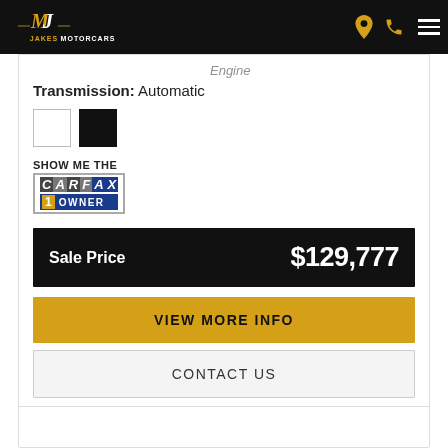Jakes Motorcars
Transmission: Automatic
[Figure (other): Two color swatches: white and black]
[Figure (logo): Show Me The CARFAX 1 Owner badge]
Sale Price $129,777
VIEW MORE INFO
CONTACT US